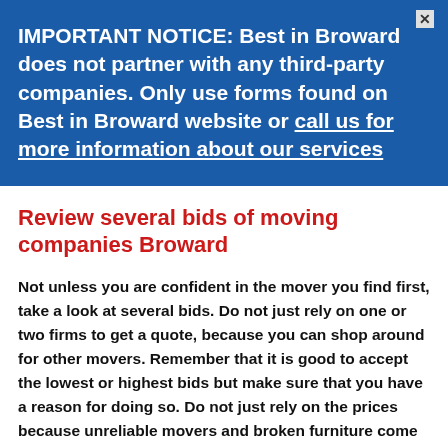IMPORTANT NOTICE: Best in Broward does not partner with any third-party companies. Only use forms found on Best in Broward website or call us for more information about our services
Review several bids of moving companies Broward
Not unless you are confident in the mover you find first, take a look at several bids. Do not just rely on one or two firms to get a quote, because you can shop around for other movers. Remember that it is good to accept the lowest or highest bids but make sure that you have a reason for doing so. Do not just rely on the prices because unreliable movers and broken furniture come with a very high price tag. Broward movers can be a hit or miss situation, the cheap movers in Broward are not